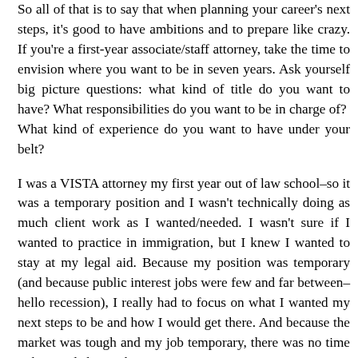So all of that is to say that when planning your career's next steps, it's good to have ambitions and to prepare like crazy. If you're a first-year associate/staff attorney, take the time to envision where you want to be in seven years. Ask yourself big picture questions: what kind of title do you want to have? What responsibilities do you want to be in charge of?  What kind of experience do you want to have under your belt?
I was a VISTA attorney my first year out of law school–so it was a temporary position and I wasn't technically doing as much client work as I wanted/needed. I wasn't sure if I wanted to practice in immigration, but I knew I wanted to stay at my legal aid. Because my position was temporary (and because public interest jobs were few and far between–hello recession), I really had to focus on what I wanted my next steps to be and how I would get there. And because the market was tough and my job temporary, there was no time to be timid about what I